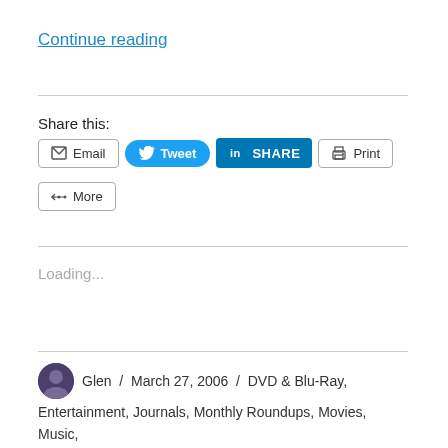Continue reading
Share this:
[Figure (infographic): Social sharing buttons: Email, Tweet, SHARE (LinkedIn), Print, More]
Loading...
Glen / March 27, 2006 / DVD & Blu-Ray, Entertainment, Journals, Monthly Roundups, Movies, Music, Sport, Technology, Television / Athletics, Broadband, BT, Comedy, Commonwealth Games, Computers, Dell,